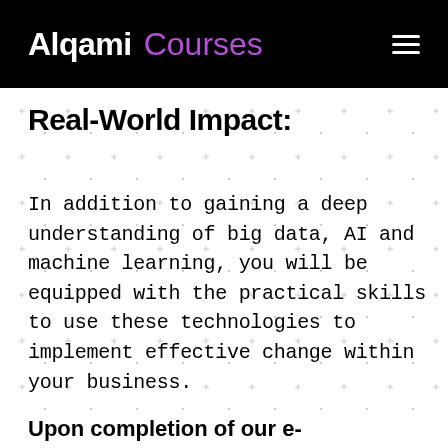Alqami Courses
Real-World Impact:
In addition to gaining a deep understanding of big data, AI and machine learning, you will be equipped with the practical skills to use these technologies to implement effective change within your business.
Upon completion of our e-